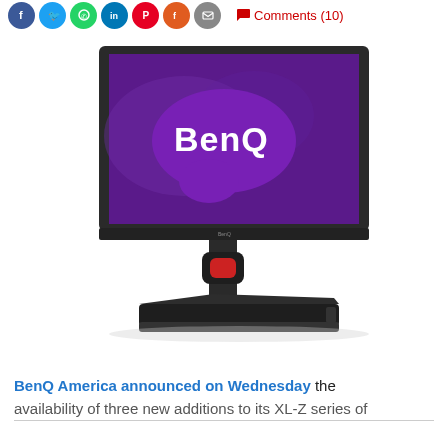Social share icons and Comments (10) link
[Figure (photo): A BenQ gaming monitor (XL-Z series) with a dark bezel, displaying the BenQ logo on a purple background. The monitor is mounted on an adjustable stand with a red accent and wide base.]
BenQ America announced on Wednesday the availability of three new additions to its XL-Z series of